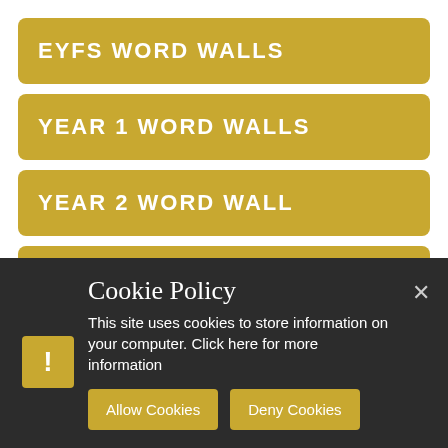EYFS WORD WALLS
YEAR 1 WORD WALLS
YEAR 2 WORD WALL
YEAR 3 AND 4 NC SPELLING LIST
Cookie Policy
This site uses cookies to store information on your computer. Click here for more information
Allow Cookies
Deny Cookies